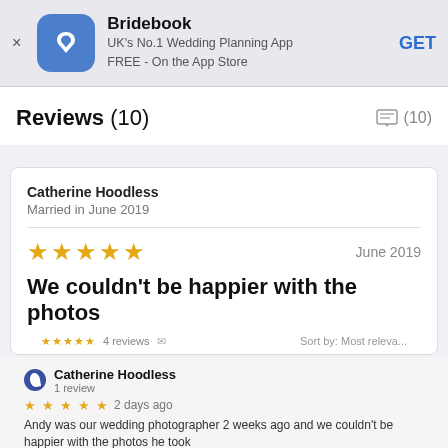[Figure (screenshot): Bridebook app banner with blue icon, app name, description and GET button]
Reviews (10)
Catherine Hoodless
Married in June 2019
★★★★★  June 2019
We couldn't be happier with the photos
4 reviews   Sort by: Most releva...
Catherine Hoodless
1 review
★★★★★ 2 days ago
Andy was our wedding photographer 2 weeks ago and we couldn't be happier with the photos he took